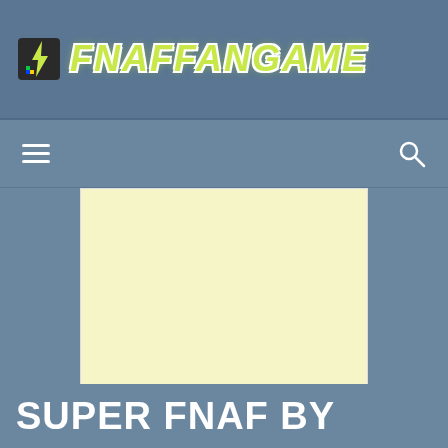FNAFFANGAME
[Figure (screenshot): Yellow/cream colored advertisement placeholder rectangle on a steel blue background]
SUPER FNAF BY